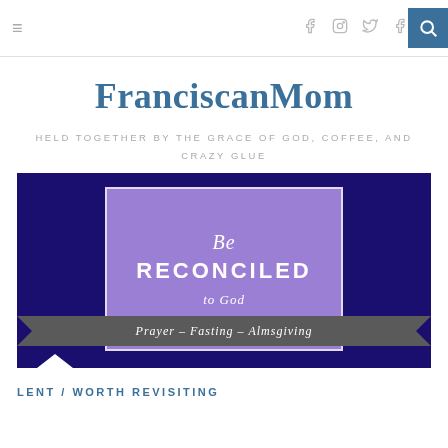≡  f  [instagram]  [twitter]  f  [search]
FranciscanMom
HELD TOGETHER BY THE GRACE OF GOD, COFFEE, AND CRAZY GLUE
[Figure (illustration): Dark purple/indigo background with a lighter purple rectangle in the center containing the text 'Be RECONCILED to God'. A gray ribbon banner at the bottom reads 'Prayer - Fasting - Almsgiving'.]
LENT / WORTH REVISITING